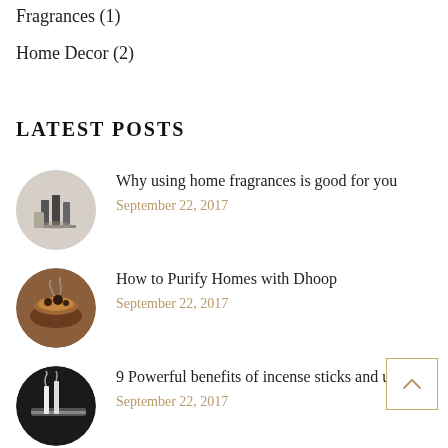Fragrances (1)
Home Decor (2)
LATEST POSTS
[Figure (photo): Circular thumbnail of home fragrance products]
Why using home fragrances is good for you
September 22, 2017
[Figure (photo): Circular thumbnail of dhoop/incense bowl]
How to Purify Homes with Dhoop
September 22, 2017
[Figure (photo): Circular thumbnail of incense sticks]
9 Powerful benefits of incense sticks and uses
September 22, 2017